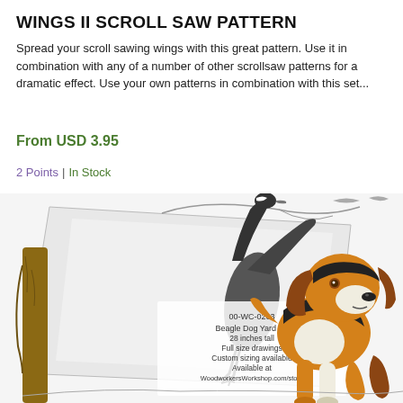WINGS II SCROLL SAW PATTERN
Spread your scroll sawing wings with this great pattern. Use it in combination with any of a number of other scrollsaw patterns for a dramatic effect. Use your own patterns in combination with this set...
From USD 3.95
2 Points | In Stock
[Figure (illustration): Product image showing a scroll saw pattern sheet with a beagle dog yard art design, featuring a colorful illustrated beagle dog and a pattern sheet with text: 00-WC-0263 Beagle Dog Yard Art 28 inches tall Full size drawings Custom sizing available Available at WoodworkersWorkshop.com/store]